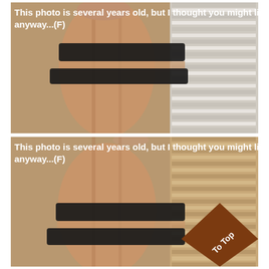[Figure (photo): Top photo: close-up of a torso/abdomen with two black elastic bands/straps around it, set against a tan/beige wall and window blinds background. Overlaid white bold text reads: This photo is several years old, but I thought you might like it anyway...(F)]
This photo is several years old, but I thought you might like it anyway...(F)
[Figure (photo): Bottom photo: identical or very similar close-up of a torso/abdomen with two black elastic bands/straps, same background. Overlaid white bold text reads: This photo is several years old, but I thought you might like it anyway...(F). A brown/chocolate diamond-shaped 'To Top' badge appears in the bottom-right corner.]
This photo is several years old, but I thought you might like it anyway...(F)